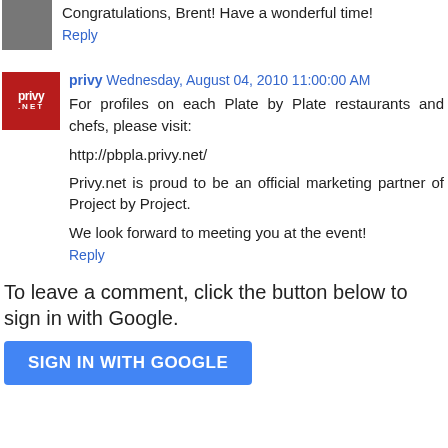Congratulations, Brent! Have a wonderful time!
Reply
privy  Wednesday, August 04, 2010 11:00:00 AM
For profiles on each Plate by Plate restaurants and chefs, please visit:

http://pbpla.privy.net/

Privy.net is proud to be an official marketing partner of Project by Project.

We look forward to meeting you at the event!
Reply
To leave a comment, click the button below to sign in with Google.
SIGN IN WITH GOOGLE